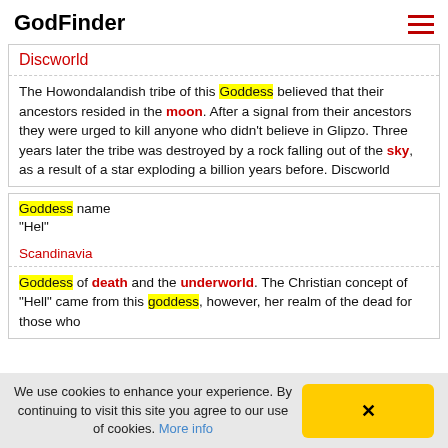GodFinder
Discworld
The Howondalandish tribe of this Goddess believed that their ancestors resided in the moon. After a signal from their ancestors they were urged to kill anyone who didn't believe in Glipzo. Three years later the tribe was destroyed by a rock falling out of the sky, as a result of a star exploding a billion years before. Discworld
Goddess name
"Hel"
Scandinavia
Goddess of death and the underworld. The Christian concept of "Hell" came from this goddess, however, her realm of the dead for those who
We use cookies to enhance your experience. By continuing to visit this site you agree to our use of cookies. More info